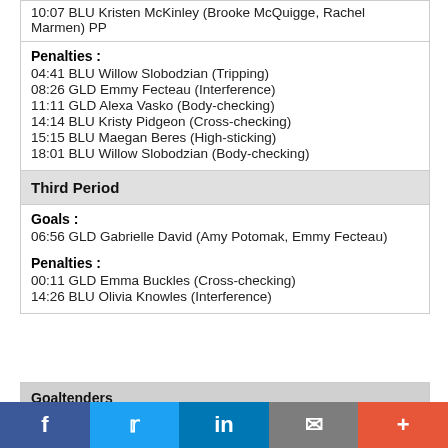10:07 BLU Kristen McKinley (Brooke McQuigge, Rachel Marmen) PP
Penalties :
04:41 BLU Willow Slobodzian (Tripping)
08:26 GLD Emmy Fecteau (Interference)
11:11 GLD Alexa Vasko (Body-checking)
14:14 BLU Kristy Pidgeon (Cross-checking)
15:15 BLU Maegan Beres (High-sticking)
18:01 BLU Willow Slobodzian (Body-checking)
Third Period
Goals :
06:56 GLD Gabrielle David (Amy Potomak, Emmy Fecteau)
Penalties :
00:11 GLD Emma Buckles (Cross-checking)
14:26 BLU Olivia Knowles (Interference)
| Goaltenders |  |
| --- | --- |
| BLU | Jaimie Rainville; Corinne Schroeder (2nd/09:53) |